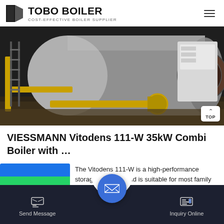TOBO BOILER — COST-EFFECTIVE BOILER SUPPLIER
[Figure (photo): Large industrial fire-tube boiler in a factory or warehouse setting. The cylindrical steel boiler body dominates the image with yellow gas pipes visible at the base. A control panel is visible on the right side.]
VIESSMANN Vitodens 111-W 35kW Combi Boiler with …
The Vitodens 111-W is a high-performance storage mounted and is suitable for most family
Send Message | Inquiry Online